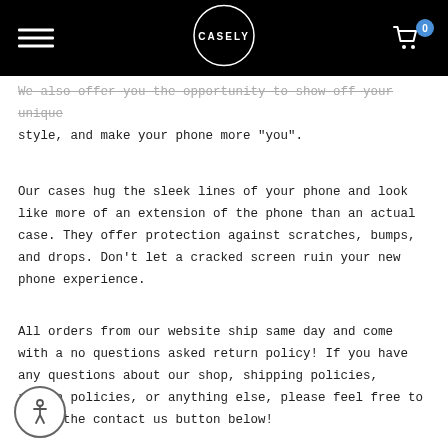CASELY — navigation header with logo and cart
We also offer you the opportunity to show off your unique style, and make your phone more "you".
Our cases hug the sleek lines of your phone and look like more of an extension of the phone than an actual case. They offer protection against scratches, bumps, and drops. Don't let a cracked screen ruin your new phone experience.
All orders from our website ship same day and come with a no questions asked return policy! If you have any questions about our shop, shipping policies, return policies, or anything else, please feel free to click the contact us button below!
[Figure (illustration): Accessibility/wheelchair icon button, circular with person symbol]